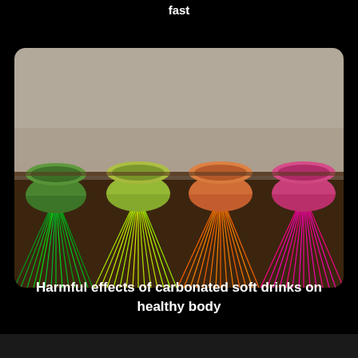fast
[Figure (photo): Four colorful cups (dark green, yellow-green, orange, pink) tipped over, each spilling a large fan of matching colored drinking straws onto a dark wooden table surface against a grey background.]
Harmful effects of carbonated soft drinks on healthy body